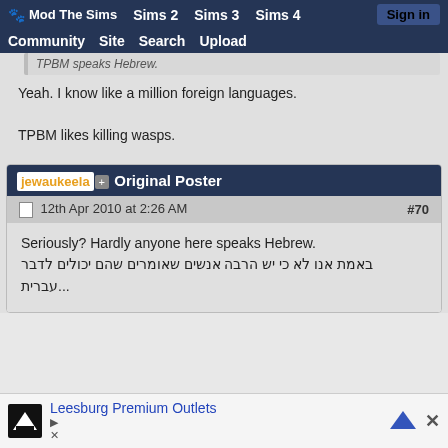Mod The Sims  Sims 2  Sims 3  Sims 4  Sign in  Community  Site  Search  Upload
TPBM speaks Hebrew.
Yeah. I know like a million foreign languages.

TPBM likes killing wasps.
jewaukeela [+] Original Poster
12th Apr 2010 at 2:26 AM  #70
Seriously? Hardly anyone here speaks Hebrew.
באמת אנו לא כי יש הרבה אנשים שאומרים שהם יכולים לדבר עברית...
[Figure (screenshot): Advertisement banner for Leesburg Premium Outlets with bird logo and close button]